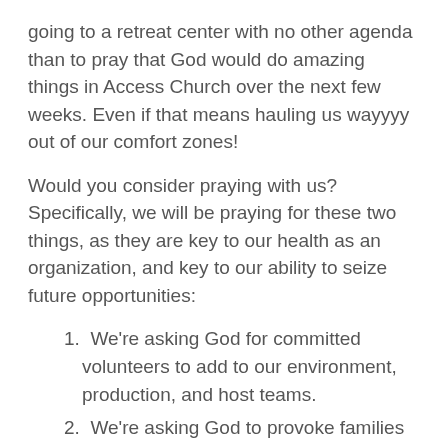going to a retreat center with no other agenda than to pray that God would do amazing things in Access Church over the next few weeks. Even if that means hauling us wayyyy out of our comfort zones!
Would you consider praying with us? Specifically, we will be praying for these two things, as they are key to our health as an organization, and key to our ability to seize future opportunities:
1. We're asking God for committed volunteers to add to our environment, production, and host teams.
2. We're asking God to provoke families to commit to priority percentage giving, as we have the huge financial goal of reaching break-even in 2008. (Our church is growing more generous all the